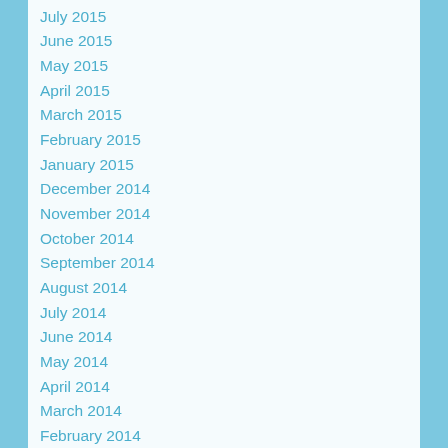July 2015
June 2015
May 2015
April 2015
March 2015
February 2015
January 2015
December 2014
November 2014
October 2014
September 2014
August 2014
July 2014
June 2014
May 2014
April 2014
March 2014
February 2014
January 2014
December 2013
November 2013
October 2013
September 2013